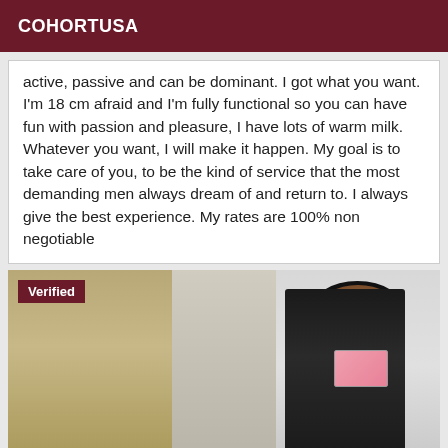COHORTUSA
active, passive and can be dominant. I got what you want. I'm 18 cm afraid and I'm fully functional so you can have fun with passion and pleasure, I have lots of warm milk. Whatever you want, I will make it happen. My goal is to take care of you, to be the kind of service that the most demanding men always dream of and return to. I always give the best experience. My rates are 100% non negotiable
[Figure (photo): Mirror selfie photo of a woman with long dark hair wearing dark clothing, holding a pink phone. A 'Verified' badge appears in the top-left corner of the image.]